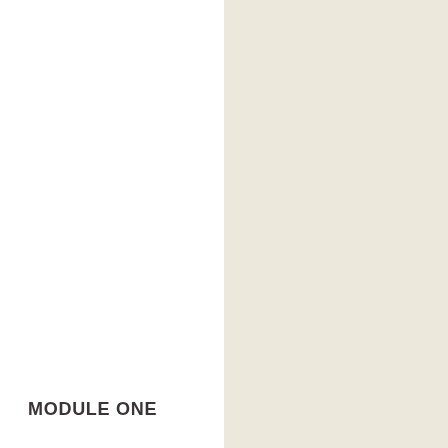[Figure (illustration): Two-panel layout: left half white background, right half cream/off-white background panel]
MODULE ONE